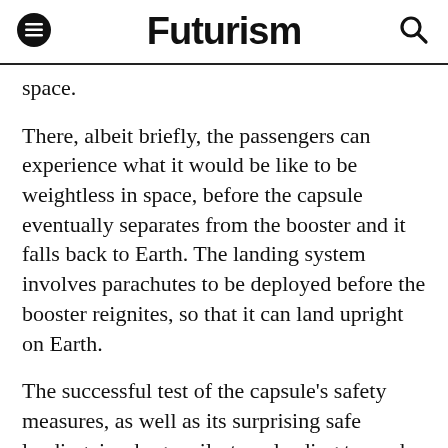Futurism
space.
There, albeit briefly, the passengers can experience what it would be like to be weightless in space, before the capsule eventually separates from the booster and it falls back to Earth. The landing system involves parachutes to be deployed before the booster reignites, so that it can land upright on Earth.
The successful test of the capsule's safety measures, as well as its surprising safe landing, is a huge milestone leading towards the reality of commercial space flight.